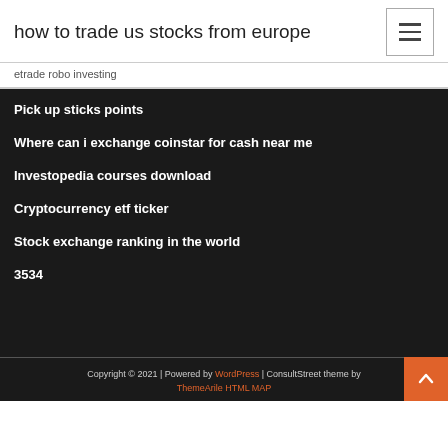how to trade us stocks from europe
etrade robo investing
Pick up sticks points
Where can i exchange coinstar for cash near me
Investopedia courses download
Cryptocurrency etf ticker
Stock exchange ranking in the world
3534
Copyright © 2021 | Powered by WordPress | ConsultStreet theme by ThemeArile HTML MAP